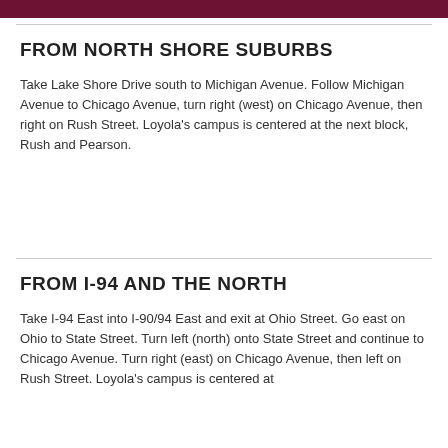FROM NORTH SHORE SUBURBS
Take Lake Shore Drive south to Michigan Avenue. Follow Michigan Avenue to Chicago Avenue, turn right (west) on Chicago Avenue, then right on Rush Street. Loyola's campus is centered at the next block, Rush and Pearson.
FROM I-94 AND THE NORTH
Take I-94 East into I-90/94 East and exit at Ohio Street. Go east on Ohio to State Street. Turn left (north) onto State Street and continue to Chicago Avenue. Turn right (east) on Chicago Avenue, then left on Rush Street. Loyola's campus is centered at